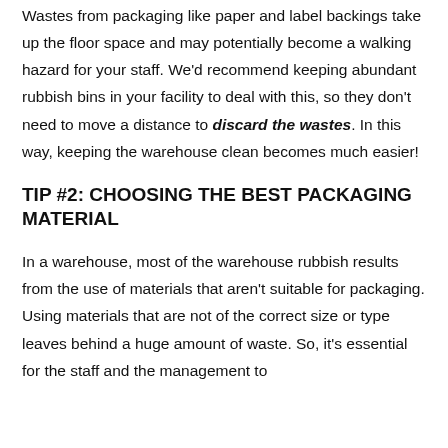Wastes from packaging like paper and label backings take up the floor space and may potentially become a walking hazard for your staff. We'd recommend keeping abundant rubbish bins in your facility to deal with this, so they don't need to move a distance to discard the wastes. In this way, keeping the warehouse clean becomes much easier!
TIP #2: CHOOSING THE BEST PACKAGING MATERIAL
In a warehouse, most of the warehouse rubbish results from the use of materials that aren't suitable for packaging. Using materials that are not of the correct size or type leaves behind a huge amount of waste. So, it's essential for the staff and the management to